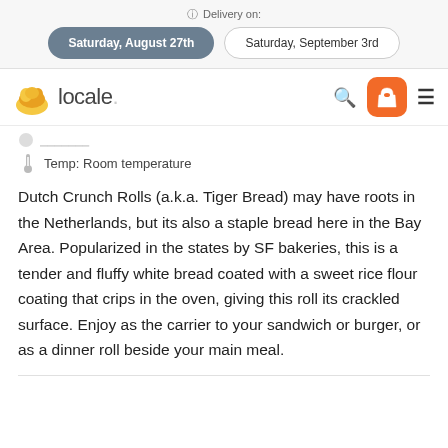Delivery on: Saturday, August 27th | Saturday, September 3rd
[Figure (logo): locale. logo with illustrated bread icon]
Temp: Room temperature
Dutch Crunch Rolls (a.k.a. Tiger Bread) may have roots in the Netherlands, but its also a staple bread here in the Bay Area. Popularized in the states by SF bakeries, this is a tender and fluffy white bread coated with a sweet rice flour coating that crips in the oven, giving this roll its crackled surface. Enjoy as the carrier to your sandwich or burger, or as a dinner roll beside your main meal.